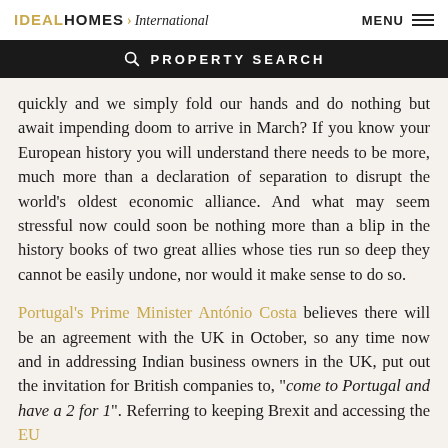IDEAL HOMES International   MENU
PROPERTY SEARCH
quickly and we simply fold our hands and do nothing but await impending doom to arrive in March? If you know your European history you will understand there needs to be more, much more than a declaration of separation to disrupt the world’s oldest economic alliance. And what may seem stressful now could soon be nothing more than a blip in the history books of two great allies whose ties run so deep they cannot be easily undone, nor would it make sense to do so.
Portugal’s Prime Minister António Costa believes there will be an agreement with the UK in October, so any time now and in addressing Indian business owners in the UK, put out the invitation for British companies to, "come to Portugal and have a 2 for 1". Referring to keeping Brexit and accessing the EU...